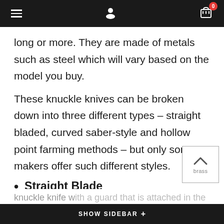Navigation bar with hamburger menu, user icon, and cart (0 items)
long or more. They are made of metals such as steel which will vary based on the model you buy.
These knuckle knives can be broken down into three different types – straight bladed, curved saber-style and hollow point farming methods – but only some makers offer such different styles.
Straight Blade
Straight Bladed Knives are your average brass knuckle knife w... that is attached in the
SHOW SIDEBAR +